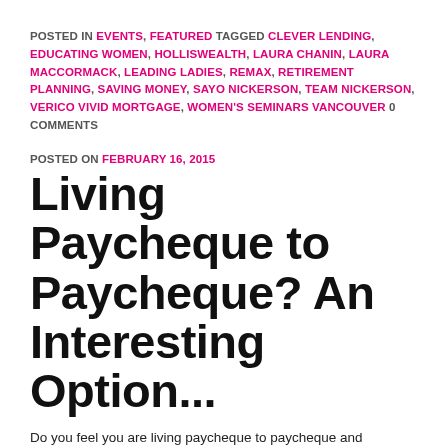POSTED IN EVENTS, FEATURED TAGGED CLEVER LENDING, EDUCATING WOMEN, HOLLISWEALTH, LAURA CHANIN, LAURA MACCORMACK, LEADING LADIES, REMAX, RETIREMENT PLANNING, SAVING MONEY, SAYO NICKERSON, TEAM NICKERSON, VERICO VIVID MORTGAGE, WOMEN'S SEMINARS VANCOUVER 0 COMMENTS
POSTED ON FEBRUARY 16, 2015
Living Paycheque to Paycheque? An Interesting Option...
Do you feel you are living paycheque to paycheque and struggling just to make ends meet? Vancouver was recently ranked as the world's second most unaffordable city to live in according to Demographia's yearly International Housing Affordability Survey. Trying to save money to build your financial future can seem nearly impossible while living in Vancouver. [...]